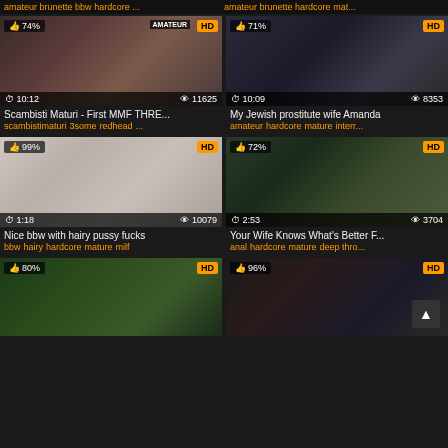amateur brunette bbw hardcore ... | amateur brunette hardcore mat...
[Figure (screenshot): Video thumbnail card: 74% like, HD badge, AMATEUR logo, duration 10:12, views 11625. Title: Scambisti Maturi - First MMF THRE... Tags: scambistimaturi 3some redhead ...]
[Figure (screenshot): Video thumbnail card: 71% like, HD badge, duration 10:09, views 8353. Title: My Jewish prostitute wife Amanda. Tags: amateur hardcore mature interr...]
[Figure (screenshot): Video thumbnail card: 99% like, HD badge, duration 1:18, views 10079. Title: Nice bbw with hairy pussy fucks. Tags: bbw hairy hardcore mature milf]
[Figure (screenshot): Video thumbnail card: 72% like, HD badge, duration 2:53, views 3704. Title: Your Wife Knows What's Better F... Tags: anal hardcore mature deep thro...]
[Figure (screenshot): Video thumbnail card: 80% like, HD badge, partial view. Outdoor forest scene.]
[Figure (screenshot): Video thumbnail card: 96% like, HD badge, partial view. Dark scene with scroll-to-top button.]